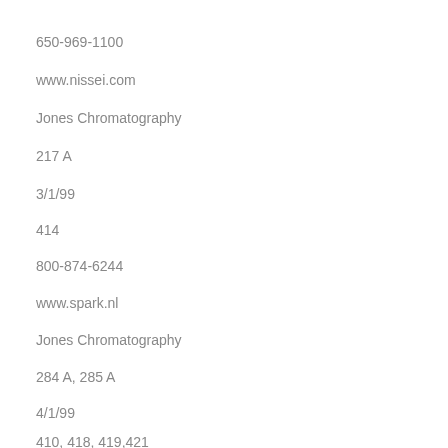650-969-1100
www.nissei.com
Jones Chromatography
217 A
3/1/99
414
800-874-6244
www.spark.nl
Jones Chromatography
284 A, 285 A
4/1/99
410, 418, 419, 421